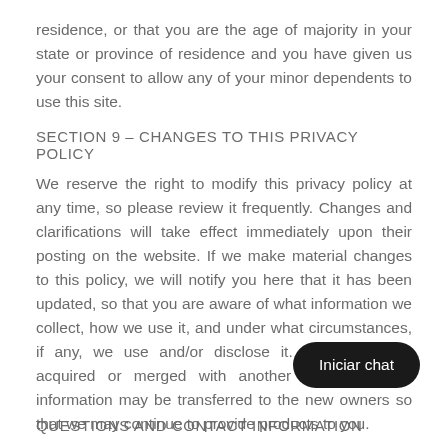residence, or that you are the age of majority in your state or province of residence and you have given us your consent to allow any of your minor dependents to use this site.
SECTION 9 - CHANGES TO THIS PRIVACY POLICY
We reserve the right to modify this privacy policy at any time, so please review it frequently. Changes and clarifications will take effect immediately upon their posting on the website. If we make material changes to this policy, we will notify you here that it has been updated, so that you are aware of what information we collect, how we use it, and under what circumstances, if any, we use and/or disclose it. If our store is acquired or merged with another company, your information may be transferred to the new owners so that we may continue to provide products to you.
QUESTIONS AND CONTACT INFORMATION